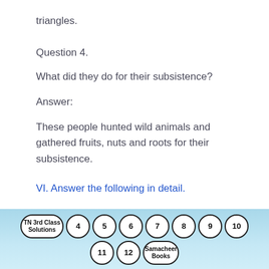triangles.
Question 4.
What did they do for their subsistence?
Answer:
These people hunted wild animals and gathered fruits, nuts and roots for their subsistence.
VI. Answer the following in detail.
Question 1.
Discuss the Neolithic culture in Tamilnadu.
[Figure (infographic): Navigation footer with page bubbles: TN 3rd Class Solutions, 4, 5, 6, 7, 8, 9, 10, 11, 12, Samacheer Books]